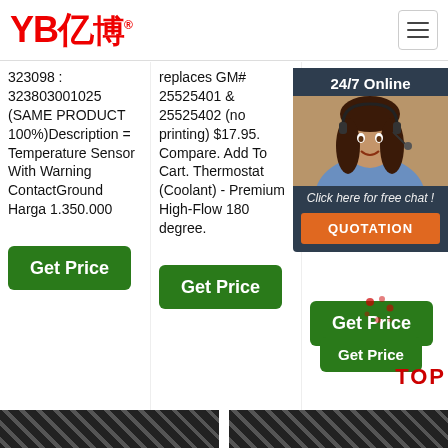[Figure (logo): YB亿博 logo in red with registered trademark symbol]
[Figure (infographic): Hamburger menu icon (three horizontal lines) in a rounded rectangle]
323098 : 323803001025 (SAME PRODUCT 100%)Description = Temperature Sensor With Warning ContactGround Harga 1.350.000
replaces GM# 25525401 & 25525402 (no printing) $17.95. Compare. Add To Cart. Thermostat (Coolant) - Premium High-Flow 180 degree.
usually maintained at a... Because high... than... wat... pur... the wat... the... as t... Tem... coo...
[Figure (infographic): 24/7 Online chat popup with female agent photo, 'Click here for free chat!' text, and QUOTATION orange button]
[Figure (other): Get Price button (green) with TOP label and decorative dots in red]
[Figure (photo): Bottom strip with diagonal striped dark images - partial product images]